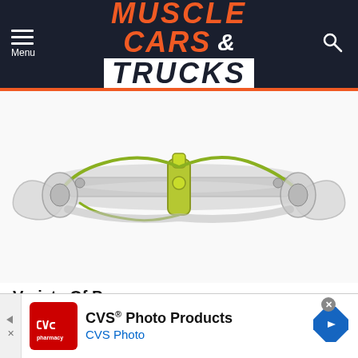MUSCLE CARS & TRUCKS
[Figure (illustration): 3D transparent render of a vehicle front suspension and steering assembly with yellow-green highlighted components on white background]
Variety Of Power
Like its siblings from Chevrolet, the 2021 GMC Yukon Family will come standard with a 355 hp 5.3L L84 V8
[Figure (other): CVS Photo Products advertisement banner with CVS pharmacy logo and navigation arrows]